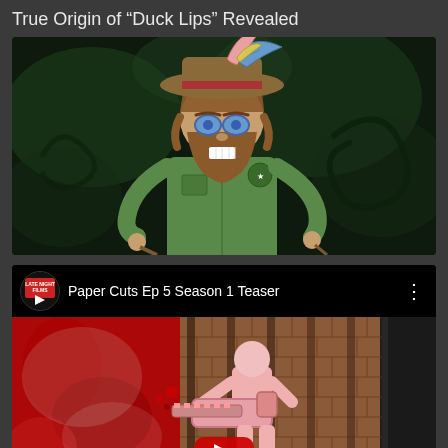True Origin of “Duck Lips” Revealed
[Figure (illustration): Animated/illustrated character: a bearded man wearing a wide-brimmed hat with colorful feathers, round blue glasses, a green short-sleeve uniform shirt with patches, holding a walking stick. Dark green smoky background.]
[Figure (screenshot): YouTube video card for 'Paper Cuts Ep 5 Season 1 Teaser' by Late Night Films channel. Shows a bloody/horror-themed animated scene with a figure holding a chainsaw, red background on left, brick wall on right center, YouTube play button overlay. Channel logo visible top-left.]